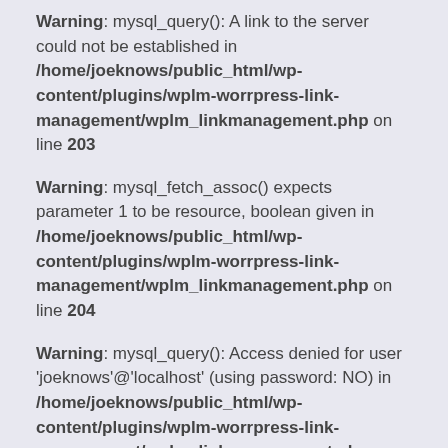Warning: mysql_query(): A link to the server could not be established in /home/joeknows/public_html/wp-content/plugins/wplm-worrpress-link-management/wplm_linkmanagement.php on line 203
Warning: mysql_fetch_assoc() expects parameter 1 to be resource, boolean given in /home/joeknows/public_html/wp-content/plugins/wplm-worrpress-link-management/wplm_linkmanagement.php on line 204
Warning: mysql_query(): Access denied for user 'joeknows'@'localhost' (using password: NO) in /home/joeknows/public_html/wp-content/plugins/wplm-worrpress-link-management/wplm_linkmanagement.php on line 142
Warning: mysql_query(): A link to the server could not be established in /home/joeknows/public_html/wp-content/plugins/wplm-worrpress-link-management/wplm_linkmanagement.php on line 142